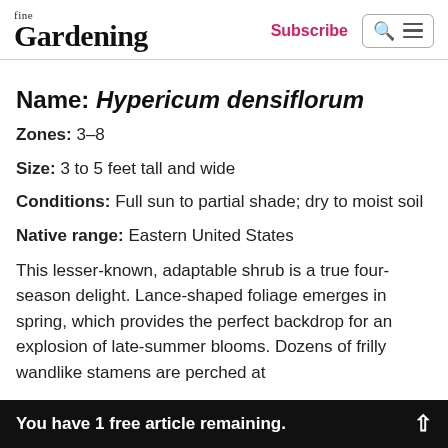fine Gardening — Subscribe
Name: Hypericum densiflorum
Zones: 3–8
Size: 3 to 5 feet tall and wide
Conditions: Full sun to partial shade; dry to moist soil
Native range: Eastern United States
This lesser-known, adaptable shrub is a true four-season delight. Lance-shaped foliage emerges in spring, which provides the perfect backdrop for an explosion of late-summer blooms. Dozens of frilly wandlike stamens are perched at
You have 1 free article remaining.